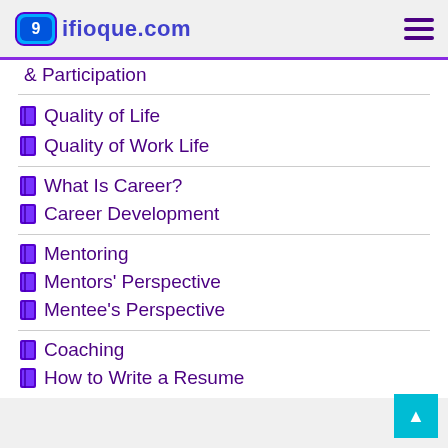9ifioque.com
& Participation
Quality of Life
Quality of Work Life
What Is Career?
Career Development
Mentoring
Mentors' Perspective
Mentee's Perspective
Coaching
How to Write a Resume